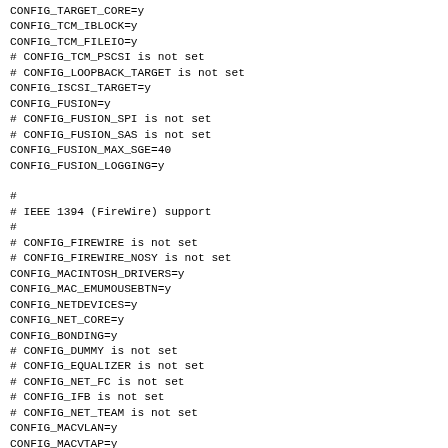CONFIG_TARGET_CORE=y
CONFIG_TCM_IBLOCK=y
CONFIG_TCM_FILEIO=y
# CONFIG_TCM_PSCSI is not set
# CONFIG_LOOPBACK_TARGET is not set
CONFIG_ISCSI_TARGET=y
CONFIG_FUSION=y
# CONFIG_FUSION_SPI is not set
# CONFIG_FUSION_SAS is not set
CONFIG_FUSION_MAX_SGE=40
CONFIG_FUSION_LOGGING=y

#
# IEEE 1394 (FireWire) support
#
# CONFIG_FIREWIRE is not set
# CONFIG_FIREWIRE_NOSY is not set
CONFIG_MACINTOSH_DRIVERS=y
CONFIG_MAC_EMUMOUSEBTN=y
CONFIG_NETDEVICES=y
CONFIG_NET_CORE=y
CONFIG_BONDING=y
# CONFIG_DUMMY is not set
# CONFIG_EQUALIZER is not set
# CONFIG_NET_FC is not set
# CONFIG_IFB is not set
# CONFIG_NET_TEAM is not set
CONFIG_MACVLAN=y
CONFIG_MACVTAP=y
# CONFIG_IPVLAN is not set
# CONFIG_VXLAN is not set